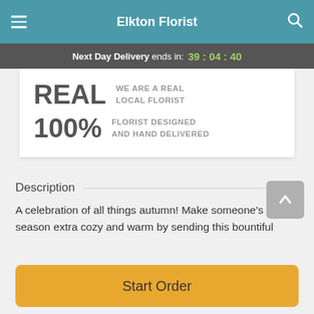Elkton Florist
Next Day Delivery ends in: 39 : 04 : 40
[Figure (infographic): White card with two rows: REAL - WE ARE A REAL LOCAL FLORIST, and 100% - FLORIST DESIGNED AND HAND DELIVERED]
Description
A celebration of all things autumn! Make someone's season extra cozy and warm by sending this bountiful
Start Order